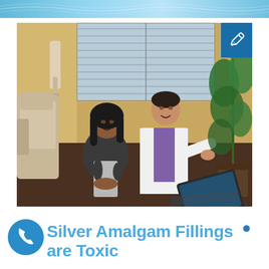[Figure (photo): Dental office consultation scene: a female patient and a male dentist in a white coat sitting together, with the dentist pointing at something, dental chair on the left, plants on the right, laptop on the desk in the foreground. Blue pencil icon overlay in top-right corner.]
Silver Amalgam Fillings are Toxic